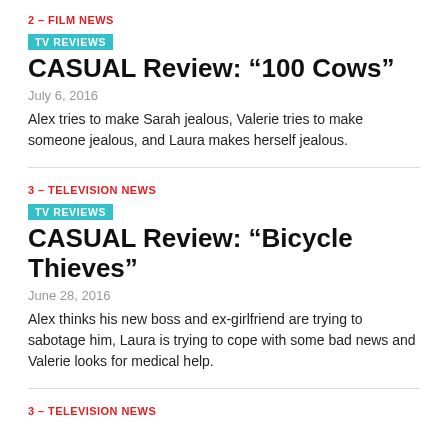2 – FILM NEWS
TV REVIEWS
CASUAL Review: “100 Cows”
July 6, 2016
Alex tries to make Sarah jealous, Valerie tries to make someone jealous, and Laura makes herself jealous.
3 – TELEVISION NEWS
TV REVIEWS
CASUAL Review: “Bicycle Thieves”
June 28, 2016
Alex thinks his new boss and ex-girlfriend are trying to sabotage him, Laura is trying to cope with some bad news and Valerie looks for medical help.
3 – TELEVISION NEWS